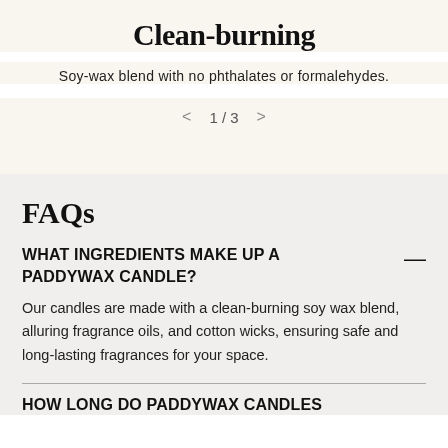Clean-burning
Soy-wax blend with no phthalates or formalehydes.
1 / 3
FAQs
WHAT INGREDIENTS MAKE UP A PADDYWAX CANDLE?
Our candles are made with a clean-burning soy wax blend, alluring fragrance oils, and cotton wicks, ensuring safe and long-lasting fragrances for your space.
HOW LONG DO PADDYWAX CANDLES